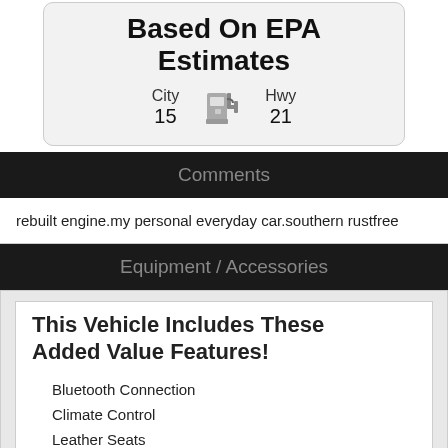Based On EPA Estimates
City 15   Hwy 21
Comments
rebuilt engine.my personal everyday car.southern rustfree
Equipment / Accessories
This Vehicle Includes These Added Value Features!
Bluetooth Connection
Climate Control
Leather Seats
Rear A/C
Remote Engine Start